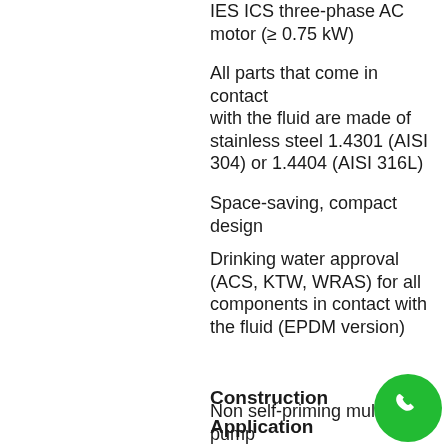IES ICS three-phase AC motor (≥ 0.75 kW)
All parts that come in contact with the fluid are made of stainless steel 1.4301 (AISI 304) or 1.4404 (AISI 316L)
Space-saving, compact design
Drinking water approval (ACS, KTW, WRAS) for all components in contact with the fluid (EPDM version)
Construction
Non self-priming multistage pump
Application